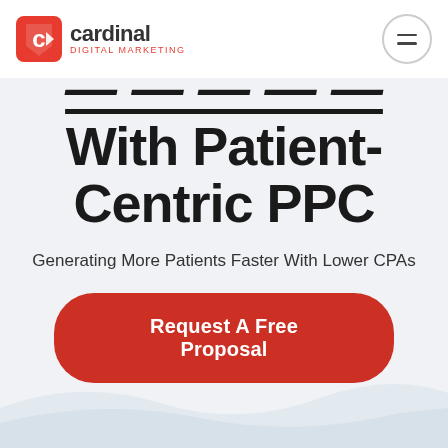[Figure (logo): Cardinal Digital Marketing logo with red shield/chevron icon and company name]
With Patient-Centric PPC
Generating More Patients Faster With Lower CPAs
Request A Free Proposal